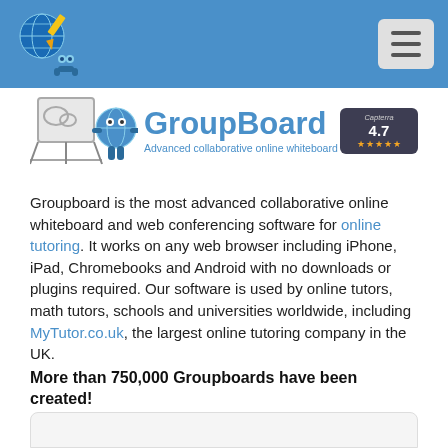[Figure (logo): GroupBoard website header with blue background, globe/robot mascot logo on left, hamburger menu button on right]
[Figure (logo): GroupBoard brand logo with mascot characters, 'GroupBoard' text in blue, tagline 'Advanced collaborative online whiteboard', and Capterra 4.7 star rating badge]
Groupboard is the most advanced collaborative online whiteboard and web conferencing software for online tutoring. It works on any web browser including iPhone, iPad, Chromebooks and Android with no downloads or plugins required. Our software is used by online tutors, math tutors, schools and universities worldwide, including MyTutor.co.uk, the largest online tutoring company in the UK.
More than 750,000 Groupboards have been created!